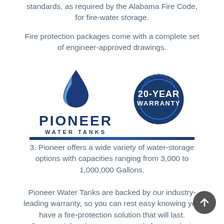standards, as required by the Alabama Fire Code, for fire-water storage.
Fire protection packages come with a complete set of engineer-approved drawings.
[Figure (logo): Pioneer Water Tanks logo with water drop icon in blue, company name 'PIONEER WATER TANKS' in dark navy, and a 20-YEAR WARRANTY badge seal in dark navy blue. A dark navy horizontal line bar runs beneath.]
3. Pioneer offers a wide variety of water-storage options with capacities ranging from 3,000 to 1,000,000 Gallons.
Pioneer Water Tanks are backed by our industry-leading warranty, so you can rest easy knowing you have a fire-protection solution that will last. Commercial projects are warrantied per project,